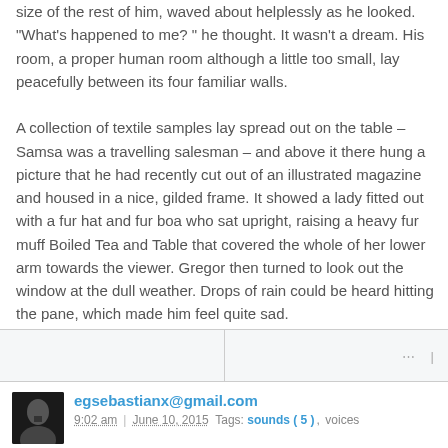size of the rest of him, waved about helplessly as he looked. "What's happened to me? " he thought. It wasn't a dream. His room, a proper human room although a little too small, lay peacefully between its four familiar walls.

A collection of textile samples lay spread out on the table – Samsa was a travelling salesman – and above it there hung a picture that he had recently cut out of an illustrated magazine and housed in a nice, gilded frame. It showed a lady fitted out with a fur hat and fur boa who sat upright, raising a heavy fur muff Boiled Tea and Table that covered the whole of her lower arm towards the viewer. Gregor then turned to look out the window at the dull weather. Drops of rain could be heard hitting the pane, which made him feel quite sad.
egsebastianx@gmail.com
9:02 am | June 10, 2015  Tags: sounds ( 5 ), voices
Lock on Fence